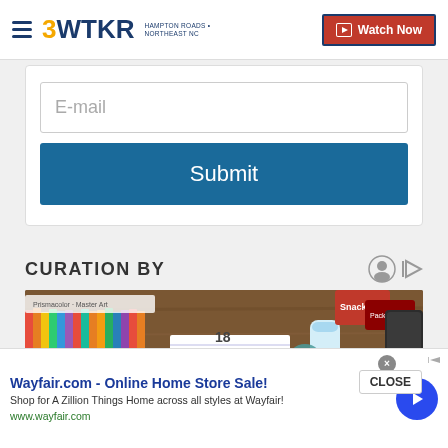3WTKR Watch Now
[Figure (screenshot): Email input field with placeholder text 'E-mail' and a blue Submit button below it, inside a white card]
CURATION BY
[Figure (photo): Overhead photo of school/office supplies including colored pencils, notebooks, tape, water bottle, and snack packages on a wooden surface]
[Figure (screenshot): Advertisement banner: Wayfair.com - Online Home Store Sale! Shop for A Zillion Things Home across all styles at Wayfair! www.wayfair.com with a blue arrow button and close X]